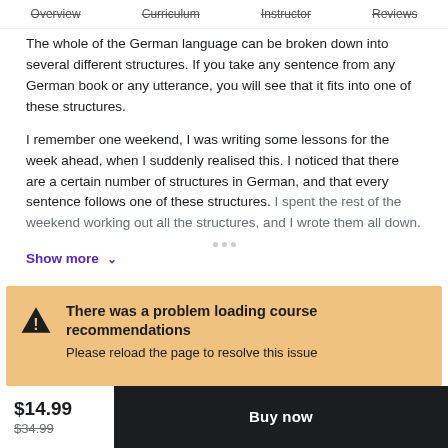Overview  Curriculum  Instructor  Reviews
The whole of the German language can be broken down into several different structures. If you take any sentence from any German book or any utterance, you will see that it fits into one of these structures.
I remember one weekend, I was writing some lessons for the week ahead, when I suddenly realised this. I noticed that there are a certain number of structures in German, and that every sentence follows one of these structures. I spent the rest of the weekend working out all the structures, and I wrote them all down.
Show more ∨
There was a problem loading course recommendations
Please reload the page to resolve this issue
$14.99  $34.99  Buy now